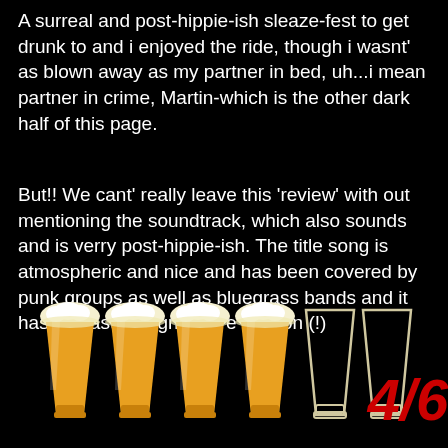A surreal and post-hippie-ish sleaze-fest to get drunk to and i enjoyed the ride, though i wasnt' as blown away as my partner in bed, uh...i mean partner in crime, Martin-which is the other dark half of this page.
But!! We cant' really leave this 'review' with out mentioning the soundtrack, which also sounds and is verry post-hippie-ish. The title song is atmospheric and nice and has been covered by punk groups as well as bluegrass bands and it has at least one grindcore version (!)
[Figure (infographic): Six beer glass icons: four filled with amber/orange beer with foam on top, and two empty/outline only glasses. Rating score '4/6' in red italic bold text on the right.]